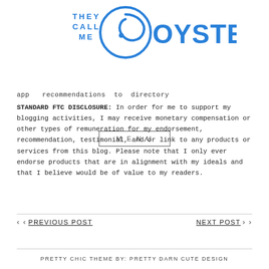[Figure (logo): They Call Me Oystergirl logo — blue text and oyster shell swirl graphic]
MENU
app recommendations to directory
STANDARD FTC DISCLOSURE: In order for me to support my blogging activities, I may receive monetary compensation or other types of remuneration for my endorsement, recommendation, testimonial, and/or link to any products or services from this blog. Please note that I only ever endorse products that are in alignment with my ideals and that I believe would be of value to my readers.
‹ ‹ PREVIOUS POST
NEXT POST › ›
PRETTY CHIC THEME BY: PRETTY DARN CUTE DESIGN